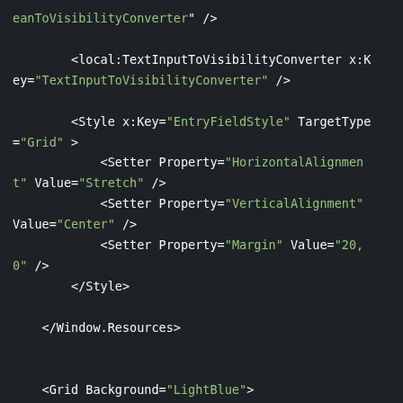[Figure (screenshot): Code editor screenshot showing XAML markup with a dark theme. The code shows XML elements including local:TextInputToVisibilityConverter, Style with EntryFieldStyle key targeting Grid, Setter elements for HorizontalAlignment, VerticalAlignment, and Margin properties, closing Window.Resources tag, and Grid with LightBlue Background containing Grid.RowDefinitions with two RowDefinition elements.]